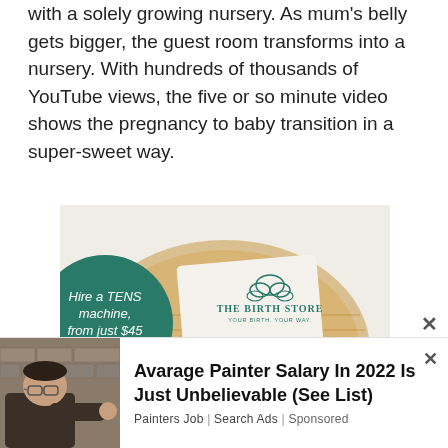with a solely growing nursery. As mum's belly gets bigger, the guest room transforms into a nursery. With hundreds of thousands of YouTube views, the five or so minute video shows the pregnancy to baby transition in a super-sweet way.
[Figure (photo): Advertisement for The Birth Store showing a wicker basket containing TENS machine hire products, pink cables, and branded accessories. Green circular overlays read 'Hire a TENS machine, from just $45' and 'The most valuable investment for birth'.]
[Figure (photo): Bottom banner advertisement showing a man painting a wall, with text 'Avarage Painter Salary In 2022 Is Just Unbelievable (See List)' from Painters Job Search Ads, Sponsored.]